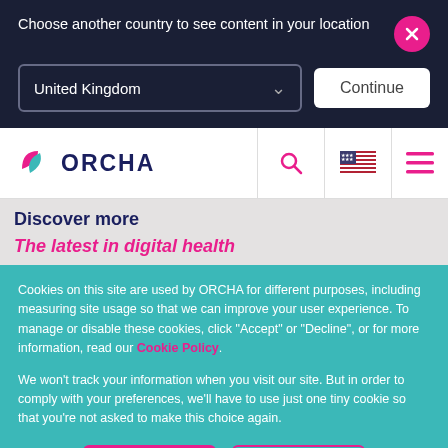Choose another country to see content in your location
United Kingdom
Continue
[Figure (logo): ORCHA logo with pink and teal leaf shapes and bold navy text ORCHA]
Discover more
The latest in digital health
Cookies on this site are used by ORCHA for different purposes, including measuring site usage so that we can improve your user experience. To manage or disable these cookies, click "Accept" or "Decline", or for more information, read our Cookie Policy.
We won't track your information when you visit our site. But in order to comply with your preferences, we'll have to use just one tiny cookie so that you're not asked to make this choice again.
Accept
Decline